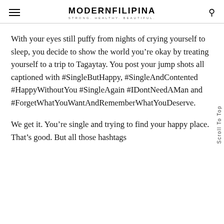MODERNFILIPINA STRONG. HEALTHY. BEAUTIFUL.
With your eyes still puffy from nights of crying yourself to sleep, you decide to show the world you’re okay by treating yourself to a trip to Tagaytay. You post your jump shots all captioned with #SingleButHappy, #SingleAndContented #HappyWithoutYou #SingleAgain #IDontNeedAMan and #ForgetWhatYouWantAndRememberWhatYouDeserve.
We get it. You’re single and trying to find your happy place. That’s good. But all those hashtags